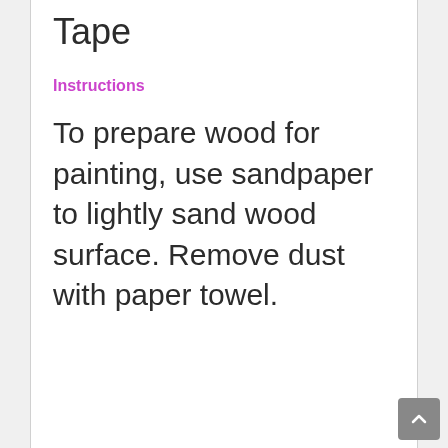Tape
Instructions
To prepare wood for painting, use sandpaper to lightly sand wood surface. Remove dust with paper towel.